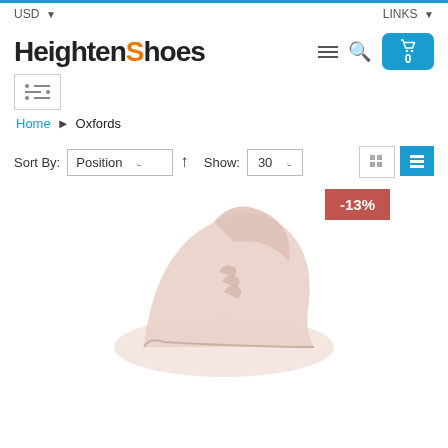USD  LINKS
[Figure (logo): HeightenShoes logo with orange S]
Sort By: Position  ↑  Show: 30
Home > Oxfords
[Figure (photo): Oxford dress shoe product photo with -13% discount badge]